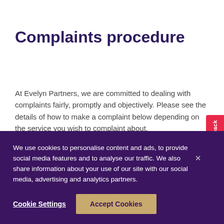Complaints procedure
At Evelyn Partners, we are committed to dealing with complaints fairly, promptly and objectively. Please see the details of how to make a complaint below depending on the service you wish to complaint about.
We use cookies to personalise content and ads, to provide social media features and to analyse our traffic. We also share information about your use of our site with our social media, advertising and analytics partners.
Cookie Settings
Accept Cookies